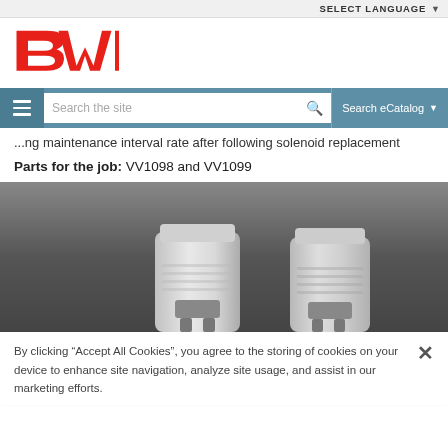SELECT LANGUAGE
[Figure (logo): BWD brand logo in red]
[Figure (screenshot): Website navigation bar with hamburger menu, search field 'Search the site', and 'Search eCatalog' button]
...ng maintenance interval rate after following solenoid replacement
Parts for the job: VV1098 and VV1099
[Figure (photo): Two automotive solenoid parts photographed on a dark grey background]
By clicking “Accept All Cookies”, you agree to the storing of cookies on your device to enhance site navigation, analyze site usage, and assist in our marketing efforts.